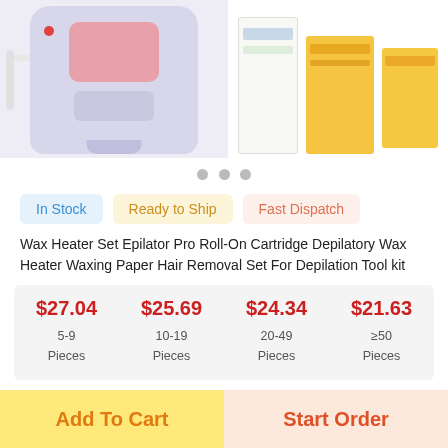[Figure (photo): Product images showing a wax heater/epilator device on the left and product boxes on the right]
In Stock   Ready to Ship   Fast Dispatch
Wax Heater Set Epilator Pro Roll-On Cartridge Depilatory Wax Heater Waxing Paper Hair Removal Set For Depilation Tool kit
| Price | Quantity |
| --- | --- |
| $27.04 | 5-9 Pieces |
| $25.69 | 10-19 Pieces |
| $24.34 | 20-49 Pieces |
| $21.63 | ≥50 Pieces |
5 Piece/Pieces (Min. Order)
Add To Cart
Start Order